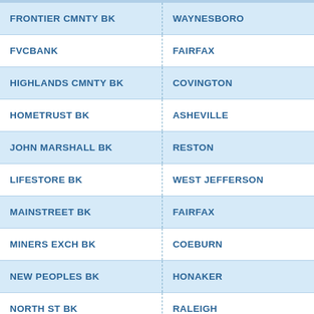| FRONTIER CMNTY BK | WAYNESBORO |
| FVCBANK | FAIRFAX |
| HIGHLANDS CMNTY BK | COVINGTON |
| HOMETRUST BK | ASHEVILLE |
| JOHN MARSHALL BK | RESTON |
| LIFESTORE BK | WEST JEFFERSON |
| MAINSTREET BK | FAIRFAX |
| MINERS EXCH BK | COEBURN |
| NEW PEOPLES BK | HONAKER |
| NORTH ST BK | RALEIGH |
| PIONEER BK | STANLEY |
| PLEASANTS CTY BK | SAINT MARYS |
| PUTNAM CTY BK | HURRICANE |